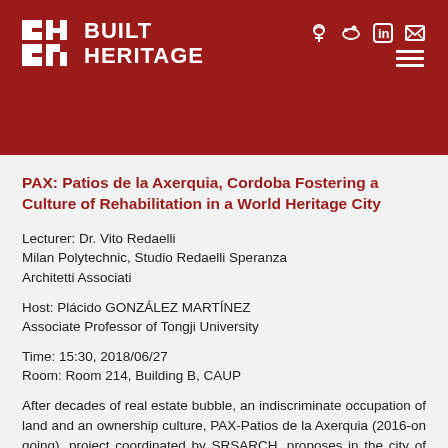BUILT HERITAGE
PAX: Patios de la Axerquia, Cordoba Fostering a Culture of Rehabilitation in a World Heritage City
Lecturer: Dr. Vito Redaelli
Milan Polytechnic, Studio Redaelli Speranza Architetti Associati
Host: Plácido GONZÁLEZ MARTÍNEZ
Associate Professor of Tongji University
Time: 15:30, 2018/06/27
Room: Room 214, Building B, CAUP
After decades of real estate bubble, an indiscriminate occupation of land and an ownership culture, PAX-Patios de la Axerquia (2016-on going), project coordinated by SRSARCH, proposes in the city of Cordoba (Spain) an innovative operation of governance